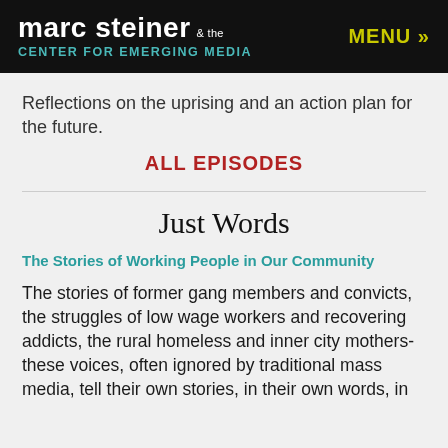marc steiner & the CENTER FOR EMERGING MEDIA  MENU »
Reflections on the uprising and an action plan for the future.
ALL EPISODES
Just Words
The Stories of Working People in Our Community
The stories of former gang members and convicts, the struggles of low wage workers and recovering addicts, the rural homeless and inner city mothers- these voices, often ignored by traditional mass media, tell their own stories, in their own words, in